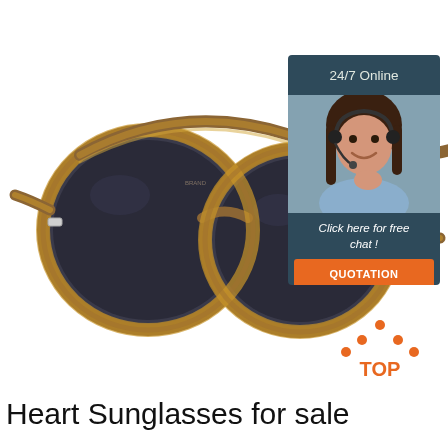[Figure (photo): Pair of round retro-style sunglasses with brown tortoiseshell striped frames and dark grey lenses, shown at an angle on white background]
[Figure (infographic): Customer service widget with dark teal/blue background. Top section shows '24/7 Online' text in white. Middle section shows a smiling woman with headset (customer service representative). Bottom dark section says 'Click here for free chat!' in white italic text, with an orange button labeled 'QUOTATION' in white bold text.]
[Figure (illustration): Orange 'TOP' icon with an upward-pointing chevron/arrow shape made of orange dots above the word TOP in orange bold text]
Heart Sunglasses for sale